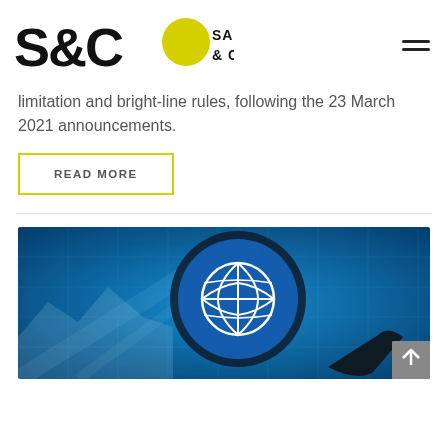Saunders & Co
limitation and bright-line rules, following the 23 March 2021 announcements.
READ MORE
[Figure (photo): A magnifying glass over a globe/world digital network icon on a blue technology background.]